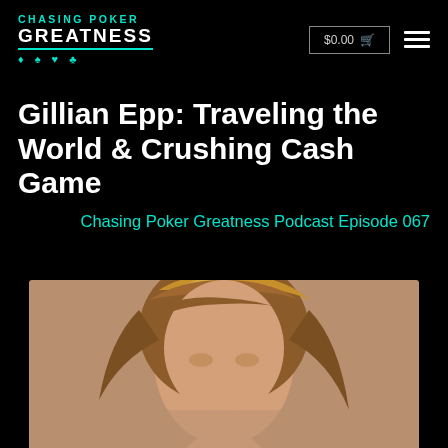CHASING POKER GREATNESS
$0.00 cart
Gillian Epp: Traveling the World & Crushing Cash Game
Chasing Poker Greatness Podcast Episode 067
[Figure (photo): Portrait photo of a woman with light brown/blonde hair, partial view showing head and top of shoulders against a tan/beige background]